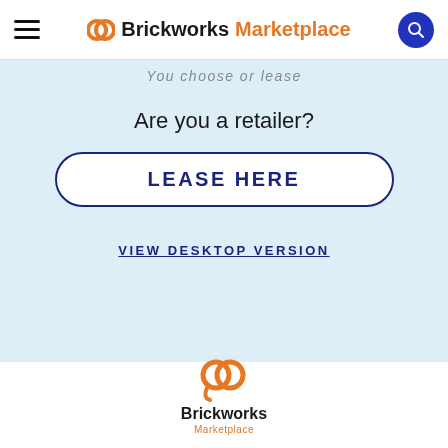Brickworks Marketplace
Are you a retailer?
LEASE HERE
VIEW DESKTOP VERSION
[Figure (logo): Brickworks Marketplace logo with orange swirl icon and text]
© Copyright 2022 Brickworks Marketplace